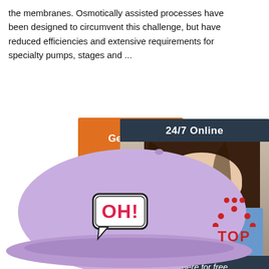the membranes. Osmotically assisted processes have been designed to circumvent this challenge, but have reduced efficiencies and extensive requirements for specialty pumps, stages and ...
[Figure (other): Orange 'Get Price' button]
[Figure (other): 24/7 Online chat widget with photo of woman with headset, 'Click here for free chat!' text, and orange QUOTATION button]
[Figure (photo): Lavender/purple baseball cap with 'OH!' comic speech bubble embroidered on the front, shown on white background]
[Figure (other): Red 'TOP' button with decorative dots arranged in an arch above the letters]